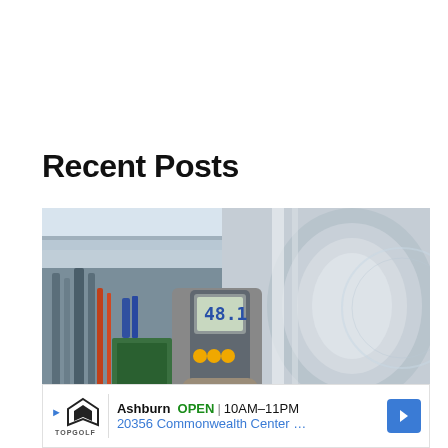Recent Posts
[Figure (photo): A hand wearing a work glove holds a digital measurement device (flow meter/anemometer) with a yellow-button interface and digital display showing '48.1', positioned in front of large industrial metallic pipes in a factory or industrial facility. Background shows piping systems and industrial equipment.]
Ashburn OPEN 10AM–11PM 20356 Commonwealth Center …